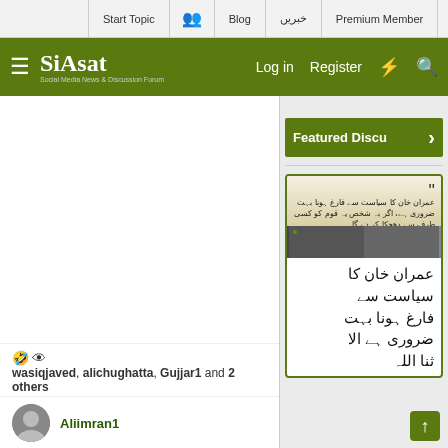Start Topic | [users icon] | Blog | خبریں | Premium Member
Siasat.pk - Social Media News & Discussion Forum | Log in | Register
Featured Discussions >
[Figure (photo): Urdu quote card with photo of two men - Imran Khan political quote in Urdu with green label]
عمران خان کا سیاست سے فارغ ہونا بہت ضروری ہے الا
🤣 👁 wasiqjaved, alichughatta, Gujjar1 and 2 others
Aliimran1